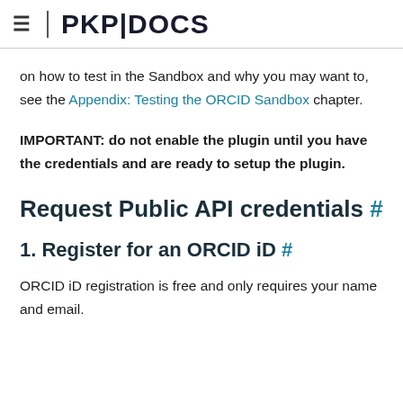PKP|DOCS
on how to test in the Sandbox and why you may want to, see the Appendix: Testing the ORCID Sandbox chapter.
IMPORTANT: do not enable the plugin until you have the credentials and are ready to setup the plugin.
Request Public API credentials #
1. Register for an ORCID iD #
ORCID iD registration is free and only requires your name and email.